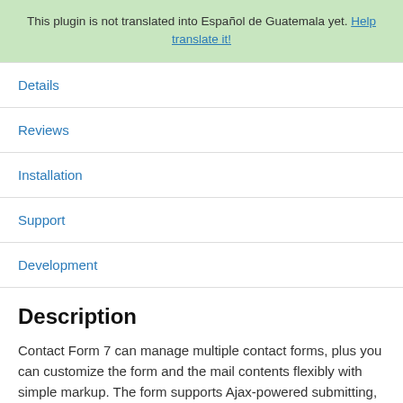This plugin is not translated into Español de Guatemala yet. Help translate it!
Details
Reviews
Installation
Support
Development
Description
Contact Form 7 can manage multiple contact forms, plus you can customize the form and the mail contents flexibly with simple markup. The form supports Ajax-powered submitting, CAPTCHA,